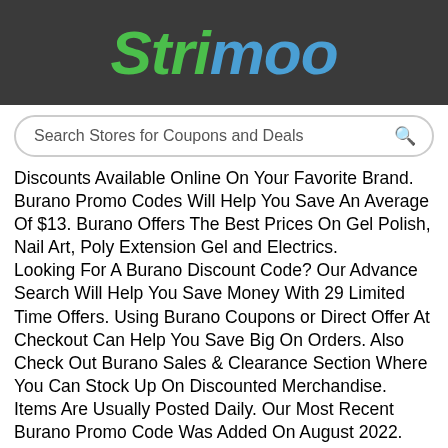[Figure (logo): Strimoo logo in italic bold font, 'Str' and 'i' in green, 'moo' in blue, on dark gray background]
Search Stores for Coupons and Deals
Discounts Available Online On Your Favorite Brand. Burano Promo Codes Will Help You Save An Average Of $13. Burano Offers The Best Prices On Gel Polish, Nail Art, Poly Extension Gel and Electrics.
Looking For A Burano Discount Code? Our Advance Search Will Help You Save Money With 29 Limited Time Offers. Using Burano Coupons or Direct Offer At Checkout Can Help You Save Big On Orders. Also Check Out Burano Sales & Clearance Section Where You Can Stock Up On Discounted Merchandise. Items Are Usually Posted Daily. Our Most Recent Burano Promo Code Was Added On August 2022.
Shopping At Festive Season for Burano? You Can Hunt For Special Discount Codes Dedicated To That Event Such As Flash Sale, Or Holiday Shopping Occasion like Halloween, Back to School, Christmas, Boxing Day Sales, Back Friday, Cyber Monday, Cultural Holidays Like Eid, Diwali, Rosh Hashana, Yom Kippur, Chinese New Year etc, Here At Strimoo.com We Will Compare Prices & Show